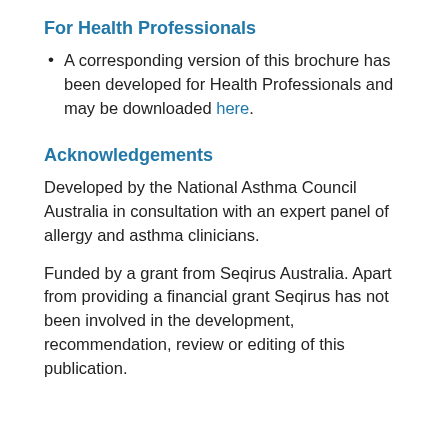For Health Professionals
A corresponding version of this brochure has been developed for Health Professionals and may be downloaded here.
Acknowledgements
Developed by the National Asthma Council Australia in consultation with an expert panel of allergy and asthma clinicians.
Funded by a grant from Seqirus Australia. Apart from providing a financial grant Seqirus has not been involved in the development, recommendation, review or editing of this publication.